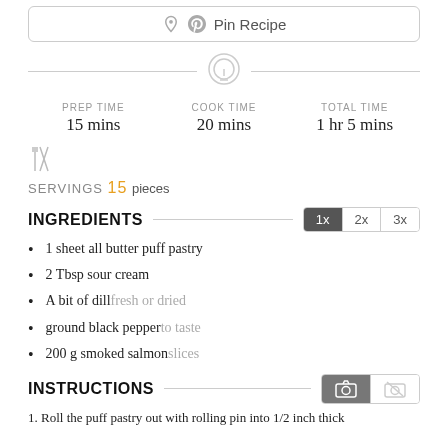[Figure (other): Pin Recipe button with Pinterest icon]
[Figure (other): Timer/clock icon between two horizontal lines]
PREP TIME 15 mins | COOK TIME 20 mins | TOTAL TIME 1 hr 5 mins
[Figure (other): Crossed fork and knife icon for servings]
SERVINGS 15 pieces
INGREDIENTS
[Figure (other): 1x 2x 3x multiplier buttons, 1x selected]
1 sheet all butter puff pastry
2 Tbsp sour cream
A bit of dill fresh or dried
ground black pepper to taste
200 g smoked salmon slices
INSTRUCTIONS
[Figure (other): Camera icon buttons (active and inactive)]
1. Roll the puff pastry out with rolling pin into 1/2 inch thick